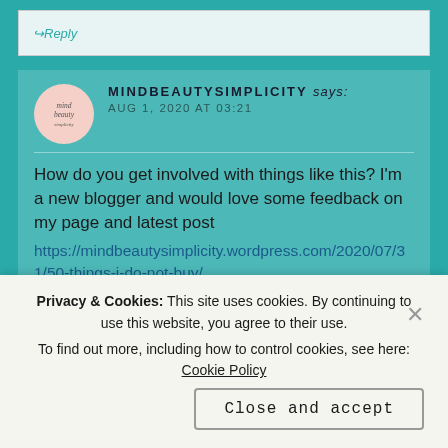↪ Reply
MINDBEAUTYSIMPLICITY says:
AUG 1, 2020 AT 03:21
How do you get involved with things like this? I'm a new blogger and would love some feedback on my page and latest post https://mindbeautysimplicity.wordpress.com/2020/07/31/50-things-i-do-not-buy/
★ Liked by 1 person
Privacy & Cookies: This site uses cookies. By continuing to use this website, you agree to their use.
To find out more, including how to control cookies, see here: Cookie Policy
Close and accept